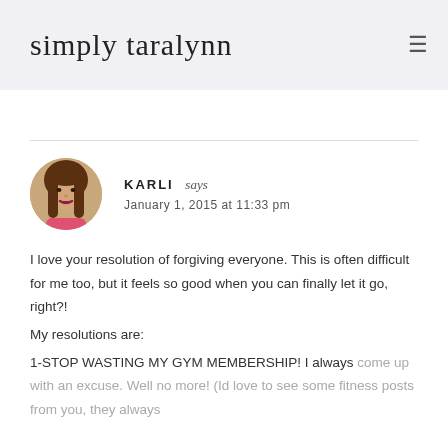simply taralynn
KARLI says
January 1, 2015 at 11:33 pm
I love your resolution of forgiving everyone. This is often difficult for me too, but it feels so good when you can finally let it go, right?!
My resolutions are:
1-STOP WASTING MY GYM MEMBERSHIP! I always come up with an excuse. Well no more! (Id love to see some fitness posts from you, they always